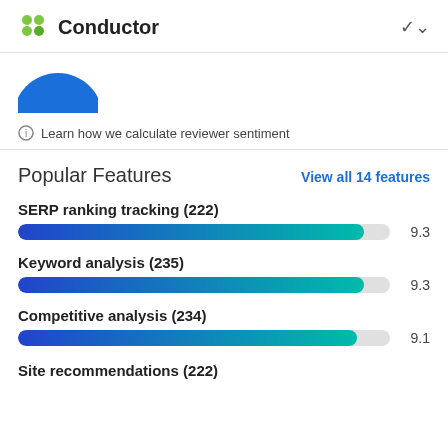Conductor
[Figure (illustration): Partial blue circle (cropped at top)]
Learn how we calculate reviewer sentiment
Popular Features
View all 14 features
SERP ranking tracking (222)
[Figure (bar-chart): SERP ranking tracking (222)]
Keyword analysis (235)
[Figure (bar-chart): Keyword analysis (235)]
Competitive analysis (234)
[Figure (bar-chart): Competitive analysis (234)]
Site recommendations (222)